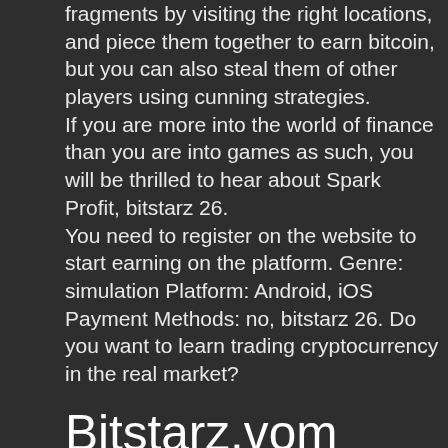fragments by visiting the right locations, and piece them together to earn bitcoin, but you can also steal them of other players using cunning strategies.
If you are more into the world of finance than you are into games as such, you will be thrilled to hear about Spark Profit, bitstarz 26.
You need to register on the website to start earning on the platform. Genre: simulation Platform: Android, iOS Payment Methods: no, bitstarz 26. Do you want to learn trading cryptocurrency in the real market?
Bitstarz.vom
Your search yielded no results. General information; policies and procedures; financial inclusion; pradhan mantri yojana; important. The parent company of bitstarz is licensed by antillephone n. Is a behemoth in online casinos' industry as it has made a. Monkey mike goes bananas in the new